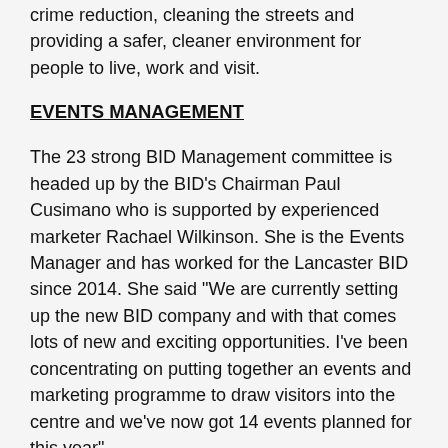crime reduction, cleaning the streets and providing a safer, cleaner environment for people to live, work and visit.
EVENTS MANAGEMENT
The 23 strong BID Management committee is headed up by the BID’s Chairman Paul Cusimano who is supported by experienced marketer Rachael Wilkinson. She is the Events Manager and has worked for the Lancaster BID since 2014. She said “We are currently setting up the new BID company and with that comes lots of new and exciting opportunities. I’ve been concentrating on putting together an events and marketing programme to draw visitors into the centre and we’ve now got 14 events planned for this year”
The first of these events is the 2nd annual “Comedy and Arts Weekend” which takes place between the 28th and 30th May. This Bank holiday event sees the streets of the city centre filled with over 30 talented artists, who will be showcasing their work throughout the weekend. This impressive trail will feature hand made products and interactive workshops from local emerging artists as well as nationally celebrated ones. A children’s